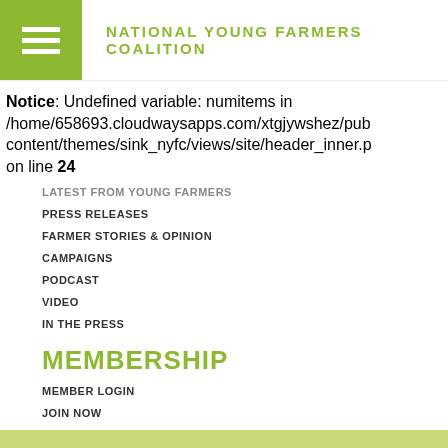NATIONAL YOUNG FARMERS COALITION
Notice: Undefined variable: numitems in /home/658693.cloudwaysapps.com/xtgjywshez/pub content/themes/sink_nyfc/views/site/header_inner.p on line 24
LATEST FROM YOUNG FARMERS
PRESS RELEASES
FARMER STORIES & OPINION
CAMPAIGNS
PODCAST
VIDEO
IN THE PRESS
MEMBERSHIP
MEMBER LOGIN
JOIN NOW
MEMBER BENEFITS